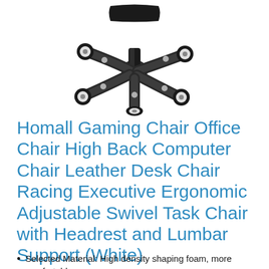[Figure (photo): Bottom view of a gaming chair showing a five-star black base with wheels/casters and a central mechanism, photographed from below on a white background.]
Homall Gaming Chair Office Chair High Back Computer Chair Leather Desk Chair Racing Executive Ergonomic Adjustable Swivel Task Chair with Headrest and Lumbar Support (White)
Selected Material: High density shaping foam, more comfortable